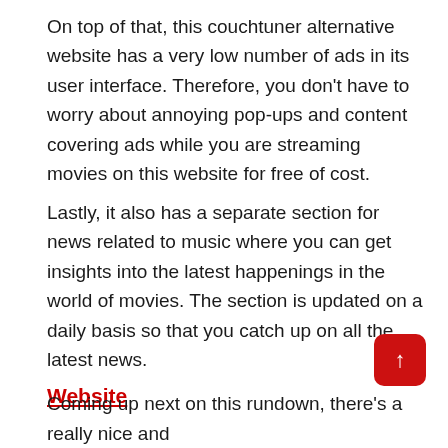On top of that, this couchtuner alternative website has a very low number of ads in its user interface. Therefore, you don't have to worry about annoying pop-ups and content covering ads while you are streaming movies on this website for free of cost.
Lastly, it also has a separate section for news related to music where you can get insights into the latest happenings in the world of movies. The section is updated on a daily basis so that you catch up on all the latest news.
Website
Coming up next on this rundown, there's a really nice and